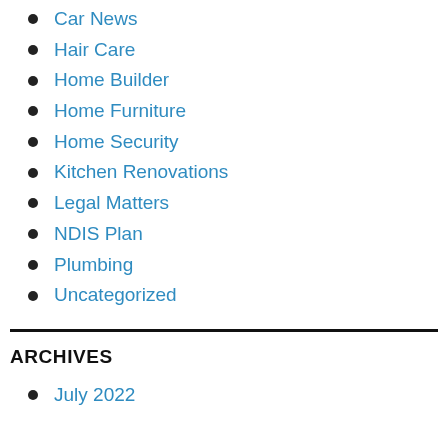Car News
Hair Care
Home Builder
Home Furniture
Home Security
Kitchen Renovations
Legal Matters
NDIS Plan
Plumbing
Uncategorized
ARCHIVES
July 2022